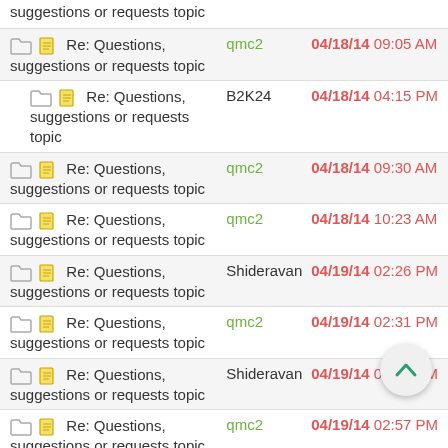| Topic | User | Date/Time |
| --- | --- | --- |
| suggestions or requests topic |  |  |
| Re: Questions, suggestions or requests topic | qmc2 | 04/18/14 09:05 AM |
| Re: Questions, suggestions or requests topic | B2K24 | 04/18/14 04:15 PM |
| Re: Questions, suggestions or requests topic | qmc2 | 04/18/14 09:30 AM |
| Re: Questions, suggestions or requests topic | qmc2 | 04/18/14 10:23 AM |
| Re: Questions, suggestions or requests topic | Shideravan | 04/19/14 02:26 PM |
| Re: Questions, suggestions or requests topic | qmc2 | 04/19/14 02:31 PM |
| Re: Questions, suggestions or requests topic | Shideravan | 04/19/14 02:44 PM |
| Re: Questions, suggestions or requests topic | qmc2 | 04/19/14 02:57 PM |
| Re: Questions, suggestions or requests topic | Shideravan | 04/19/14 03:12 PM |